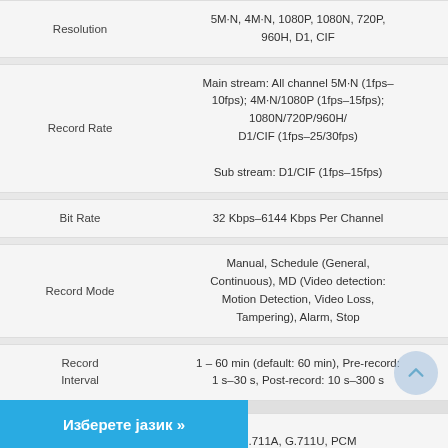| Feature | Value |
| --- | --- |
| Resolution | 5M·N, 4M·N, 1080P, 1080N, 720P, 960H, D1, CIF |
| Record Rate | Main stream: All channel 5M·N (1fps–10fps); 4M·N/1080P (1fps–15fps); 1080N/720P/960H/D1/CIF (1fps–25/30fps)
Sub stream: D1/CIF (1fps–15fps) |
| Bit Rate | 32 Kbps–6144 Kbps Per Channel |
| Record Mode | Manual, Schedule (General, Continuous), MD (Video detection: Motion Detection, Video Loss, Tampering), Alarm, Stop |
| Record Interval | 1 – 60 min (default: 60 min), Pre-record: 1 s–30 s, Post-record: 10 s–300 s |
| Audio Compression | G.711A, G.711U, PCM |
| Audio Sample Rate | 8 KHz, 16 bit Per Channel |
| (Audio Bit Rate) | 64 Kbps Per Channel |